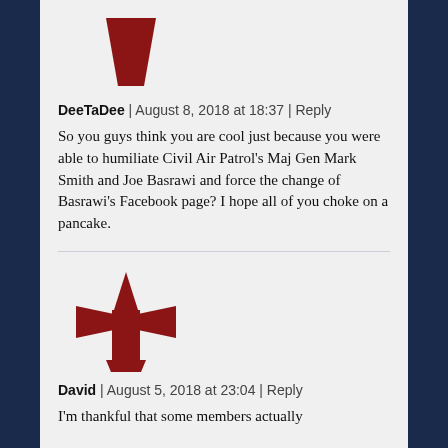[Figure (illustration): Red trapezoid avatar icon for user DeeTaDee]
DeeTaDee | August 8, 2018 at 18:37 | Reply
So you guys think you are cool just because you were able to humiliate Civil Air Patrol's Maj Gen Mark Smith and Joe Basrawi and force the change of Basrawi's Facebook page? I hope all of you choke on a pancake.
[Figure (illustration): Red lighthouse/cross avatar icon for user David]
David | August 5, 2018 at 23:04 | Reply
I'm thankful that some members actually